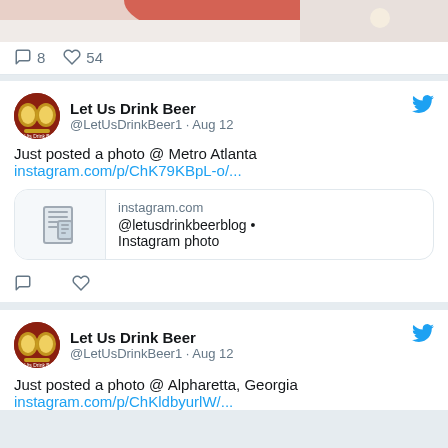[Figure (screenshot): Top portion of a tweet showing a partial food/drink photo with red and white coloring]
8  54 (comment and like counts)
Let Us Drink Beer
@LetUsDrinkBeer1 · Aug 12

Just posted a photo @ Metro Atlanta
instagram.com/p/ChK79KBpL-o/...
[Figure (screenshot): Instagram link preview card showing @letusdrinkbeerblog • Instagram photo]
Let Us Drink Beer
@LetUsDrinkBeer1 · Aug 12

Just posted a photo @ Alpharetta, Georgia
instagram.com/p/ChKldbyurlW/...